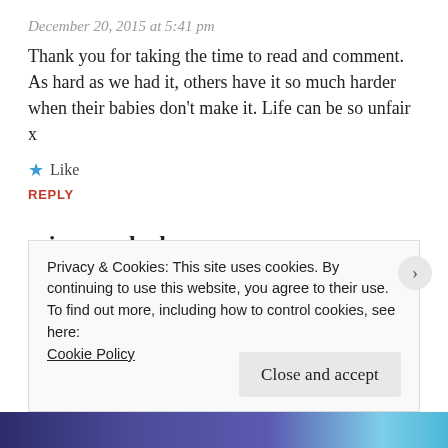December 20, 2015 at 5:41 pm
Thank you for taking the time to read and comment. As hard as we had it, others have it so much harder when their babies don't make it. Life can be so unfair x
★ Like
REPLY
reimerandruby says:
December 20, 2015 at 7:55 pm
It's so heartbreaking reading this, I'm teary eyed… Luckily, miracles do happen and your little Zaki is a proof of it… He's
Privacy & Cookies: This site uses cookies. By continuing to use this website, you agree to their use.
To find out more, including how to control cookies, see here:
Cookie Policy
Close and accept